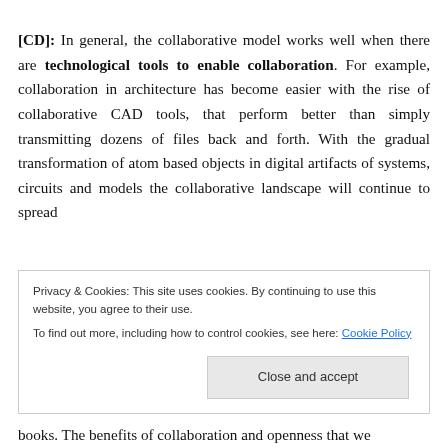[CD]: In general, the collaborative model works well when there are technological tools to enable collaboration. For example, collaboration in architecture has become easier with the rise of collaborative CAD tools, that perform better than simply transmitting dozens of files back and forth. With the gradual transformation of atom based objects in digital artifacts of systems, circuits and models the collaborative landscape will continue to spread
Privacy & Cookies: This site uses cookies. By continuing to use this website, you agree to their use. To find out more, including how to control cookies, see here: Cookie Policy
books. The benefits of collaboration and openness that we